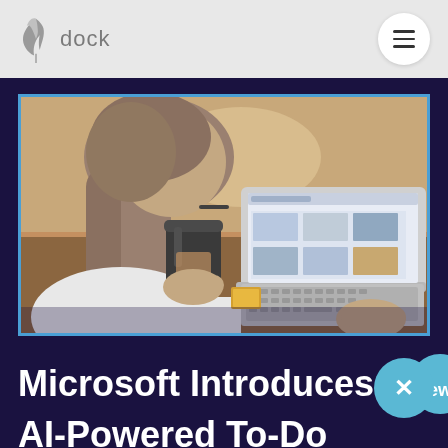dock
[Figure (photo): A woman with long hair and glasses, viewed from behind and to the side, holding a dark coffee cup while working on a laptop computer at a wooden desk. The laptop screen shows a website with images. A small card or tag is visible on the desk.]
Microsoft Introduces New AI-Powered To-Do